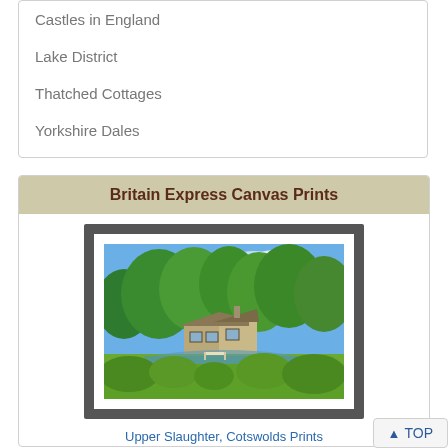Castles in England
Lake District
Thatched Cottages
Yorkshire Dales
Britain Express Canvas Prints
[Figure (photo): Framed landscape photograph of Upper Slaughter, Cotswolds — a stone cottage surrounded by lush green trees beside a stream under a blue sky]
Upper Slaughter, Cotswolds Prints